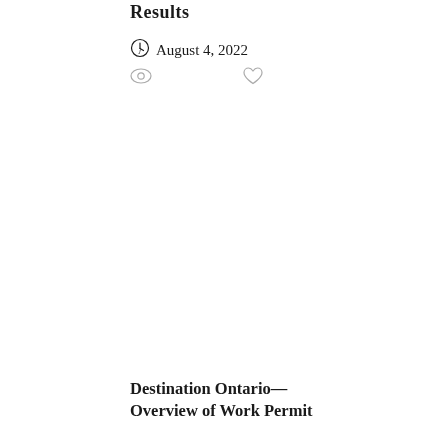Results
August 4, 2022
Destination Ontario—
Overview of Work Permit